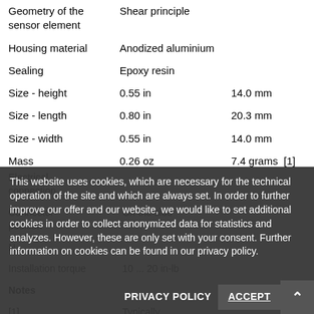| Property | Value (imperial) | Value (metric) |
| --- | --- | --- |
| Geometry of the sensor element | Shear principle |  |
| Housing material | Anodized aluminium |  |
| Sealing | Epoxy resin |  |
| Size - height | 0.55 in | 14.0 mm |
| Size - length | 0.80 in | 20.3 mm |
| Size - width | 0.55 in | 14.0 mm |
| Mass | 0.26 oz | 7.4 grams  [1] |
| Electrical connection |  |  |
| Connector position | On the side |  |
| Number of pins |  |  |
| Installation torque | 10 ... 20 in-lb |  |
| Notes |  |  |
| [1] | Typically... |  |
|  | Zero-balance just, |  |
| [2] | determined using the |  |
|  | method of least squares |  |
This website uses cookies, which are necessary for the technical operation of the site and which are always set. In order to further improve our offer and our website, we would like to set additional cookies in order to collect anonymized data for statistics and analyzes. However, these are only set with your consent. Further information on cookies can be found in our privacy policy.
PRIVACY POLICY    ACCEPT